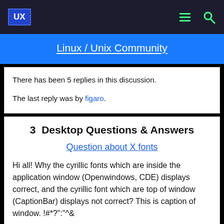UX  Linux / Unix Community
Linux / Unix Community
There has been 5 replies in this discussion.
The last reply was by figaro.
3  Desktop Questions & Answers
Question about X fonts
Hi all! Why the cyrillic fonts which are inside the application window (Openwindows, CDE) displays correct, and the cyrillic font which are top of window (CaptionBar) displays not correct? This is caption of window. !#*?":"^&